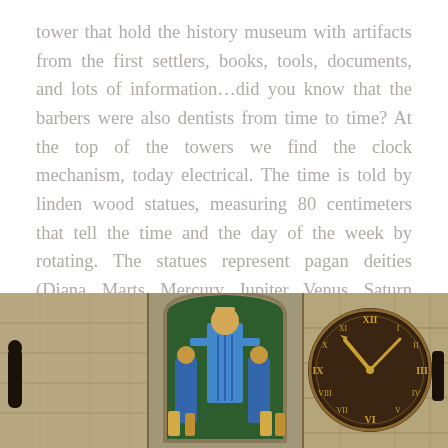tower that hold the history museum with artifacts from the first settlers, books, tools, documents, and lots of information…did you know that the barbers were also dentists from time to time? At the top of the towers we find the clock mechanism, today electrical. The time is told by linden wood statues, measuring 80 centimeters that tell the time and the day of the week by rotating. The statues represent pagan deities (Diana, Marts, Mercury, Jupiter, Venus, Saturn and the Sun).
[Figure (photo): Photograph of a historic clock tower showing two panels: on the left, a niche with colorful painted wooden statues in blue and gold costumes; on the right, a large round clock face with Roman numerals and ornate gold hands, set into a stone wall.]